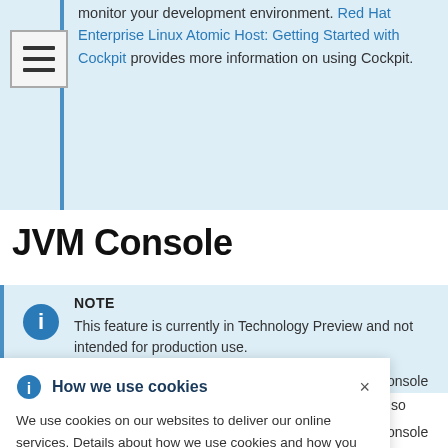monitor your development environment. Red Hat Enterprise Linux Atomic Host: Getting Started with Cockpit provides more information on using Cockpit.
JVM Console
NOTE
This feature is currently in Technology Preview and not intended for production use.
How we use cookies
We use cookies on our websites to deliver our online services. Details about how we use cookies and how you may disable them are set out in our Privacy Statement. By using this website you agree to our use of cookies.
console also console for ation n the pod's ded the